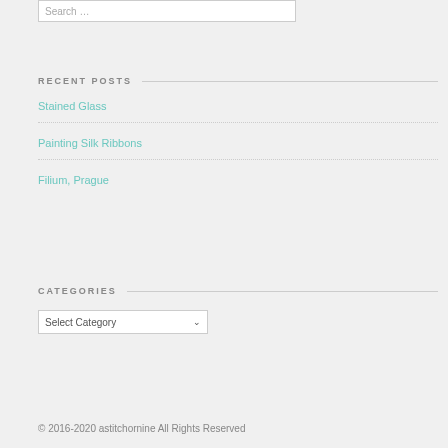Search …
RECENT POSTS
Stained Glass
Painting Silk Ribbons
Filium, Prague
CATEGORIES
Select Category
© 2016-2020 astitchornine All Rights Reserved